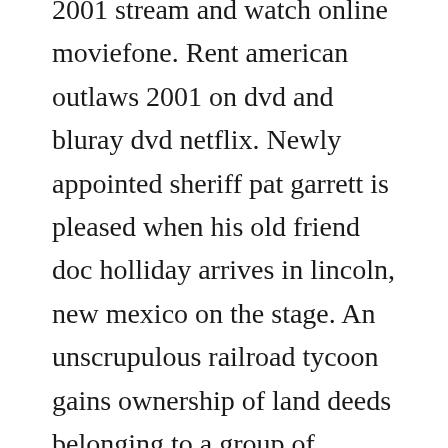2001 stream and watch online moviefone. Rent american outlaws 2001 on dvd and bluray dvd netflix. Newly appointed sheriff pat garrett is pleased when his old friend doc holliday arrives in lincoln, new mexico on the stage. An unscrupulous railroad tycoon gains ownership of land deeds belonging to a group of homesteaders without their knowledge.
The community page appears to be surprisingly active. Your isp can monitor you, unless you use a zero log. With colin farrell, scott caan, ali larter, gabriel macht. Regarder